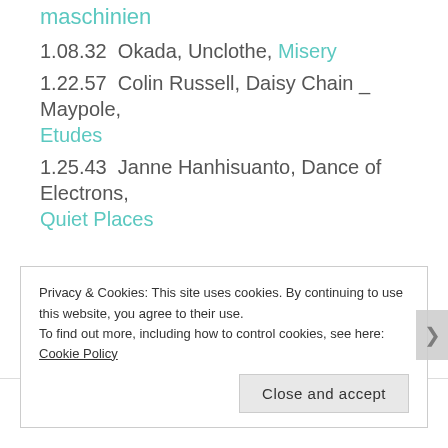maschinien
1.08.32  Okada, Unclothe, Misery
1.22.57  Colin Russell, Daisy Chain _ Maypole, Etudes
1.25.43  Janne Hanhisuanto, Dance of Electrons, Quiet Places
Privacy & Cookies: This site uses cookies. By continuing to use this website, you agree to their use. To find out more, including how to control cookies, see here: Cookie Policy
Close and accept